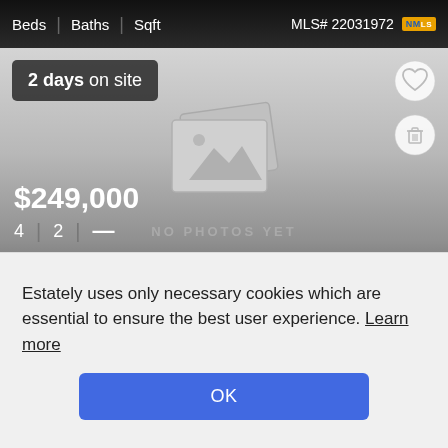Beds | Baths | Sqft    MLS# 22031972 NMLS
2 days on site
[Figure (other): No photo placeholder with image icon and text 'NO PHOTOS YET' on a gray gradient background]
$249,000
4 | 2 | —
Estately uses only necessary cookies which are essential to ensure the best user experience. Learn more
OK